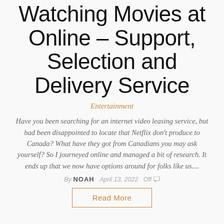Watching Movies at Online – Support, Selection and Delivery Service
Entertainment
Have you been searching for an internet video leasing service, but had been disappointed to locate that Netflix don't produce to Canada? What have they got from Canadians you may ask yourself? So I journeyed online and managed a bit of research. It ends up that we now have options around for folks like us....
By NOAH  April 13, 2022  Off
Read More